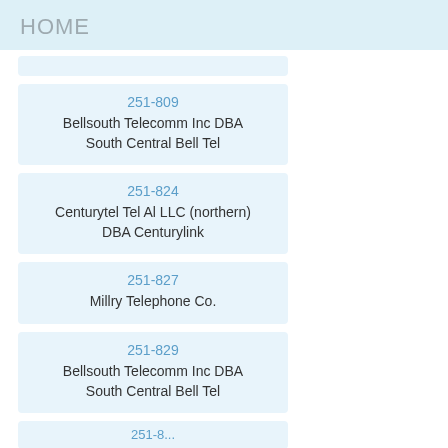HOME
251-809
Bellsouth Telecomm Inc DBA South Central Bell Tel
251-824
Centurytel Tel Al LLC (northern) DBA Centurylink
251-827
Millry Telephone Co.
251-829
Bellsouth Telecomm Inc DBA South Central Bell Tel
251-...